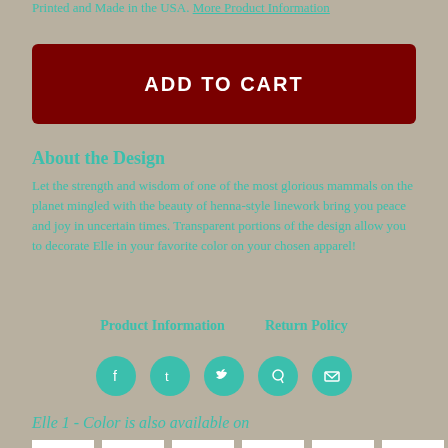Printed and Made in the USA. More Product Information
ADD TO CART
About the Design
Let the strength and wisdom of one of the most glorious mammals on the planet mingled with the beauty of henna-style linework bring you peace and joy in uncertain times. Transparent portions of the design allow you to decorate Elle in your favorite color on your chosen apparel!
Product Information    Return Policy
[Figure (other): Social media share icons: Facebook, Tumblr, Twitter, Pinterest, Email]
Elle 1 - Color is also available on
[Figure (other): Six white product thumbnail images]